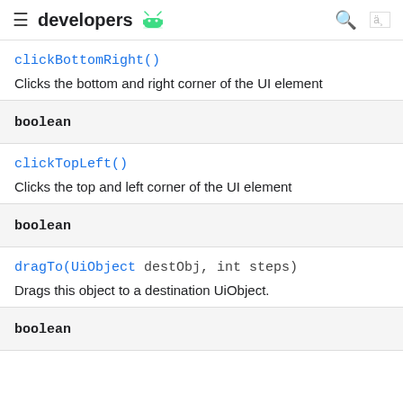developers
clickBottomRight()
Clicks the bottom and right corner of the UI element
boolean
clickTopLeft()
Clicks the top and left corner of the UI element
boolean
dragTo(UiObject destObj, int steps)
Drags this object to a destination UiObject.
boolean